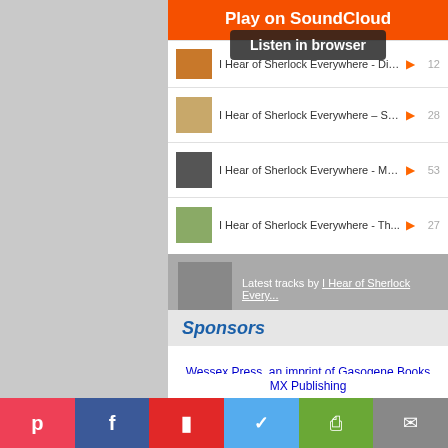[Figure (screenshot): SoundCloud embedded widget showing 'Play on SoundCloud' orange button, 'Listen in browser' overlay tooltip, and a playlist of 'I Hear of Sherlock Everywhere' podcast tracks with play counts 28, 53, 27. Footer shows 'Latest tracks by I Hear of Sherlock Every...' and a Privacy policy link.]
Listen to I Hear of Sherlock Everywhere
Sponsors
[Figure (logo): Wessex Press, an imprint of Gasogene Books logo]
[Figure (logo): MX Publishing logo]
Interested in becoming a sponsor? Get in touch.